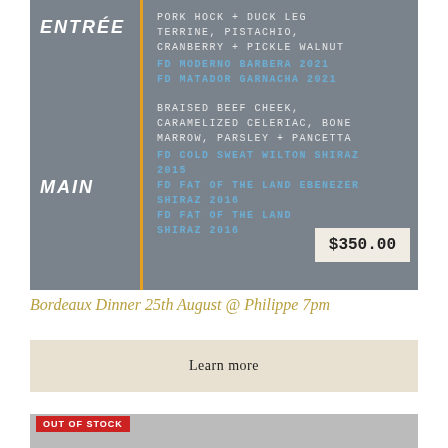[Figure (infographic): Restaurant menu card with dark grey background, orange vertical divider. Left column labels: ENTRÉE and MAIN. Right column lists dishes and wines in uppercase monospace text. A price tag of $350.00 overlays the lower right of the menu.]
Bordeaux Dinner 25th August @ Philippe 7pm
Learn more
OUT OF STOCK